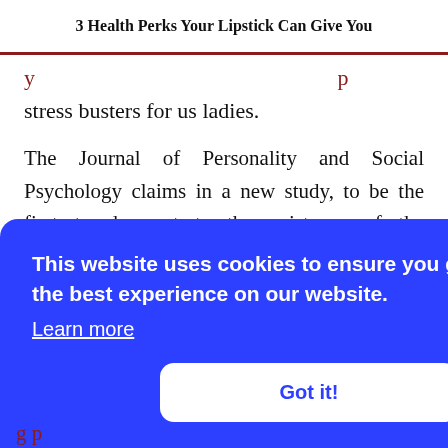3 Health Perks Your Lipstick Can Give You
stress busters for us ladies.
The Journal of Personality and Social Psychology claims in a new study, to be the first to demonstrate the existence of the “Lipstick effect.” This theory first took place during the Great Depression in the 1930s, when industrial production was cut into half, and women were seen buying [2]
to the eling of ing for at your
[Figure (screenshot): Cookie consent banner overlay with blue background. Text reads: 'This website uses cookies to ensure you get the best experience on our website.' with a 'Learn more' link and a 'Got it!' button.]
g p